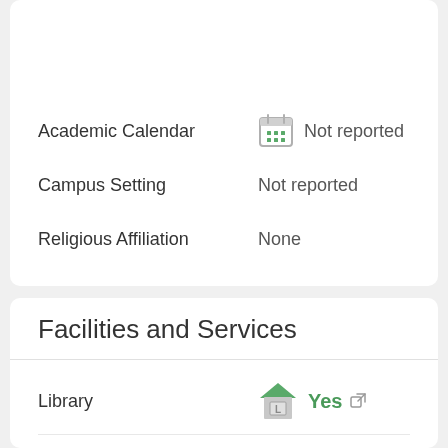Academic Calendar  Not reported
Campus Setting  Not reported
Religious Affiliation  None
Facilities and Services
Library  Yes
Housing  Not reported
Sport Facilities  Yes